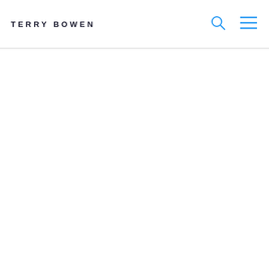TERRY BOWEN
[Figure (other): Search icon (magnifying glass) in blue outline style]
[Figure (other): Hamburger menu icon with three horizontal blue lines]